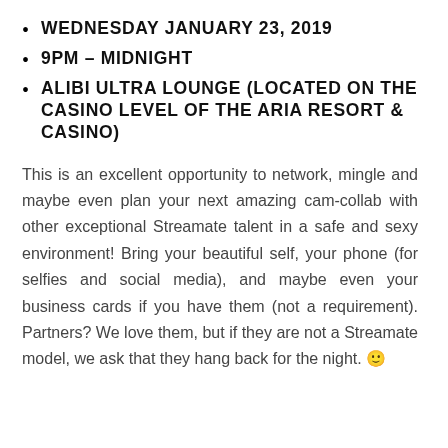WEDNESDAY JANUARY 23, 2019
9PM – MIDNIGHT
ALIBI ULTRA LOUNGE (LOCATED ON THE CASINO LEVEL OF THE ARIA RESORT & CASINO)
This is an excellent opportunity to network, mingle and maybe even plan your next amazing cam-collab with other exceptional Streamate talent in a safe and sexy environment! Bring your beautiful self, your phone (for selfies and social media), and maybe even your business cards if you have them (not a requirement). Partners? We love them, but if they are not a Streamate model, we ask that they hang back for the night. 🙂